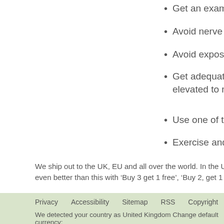Get an examination
Avoid nerve stimula
Avoid exposure to e
Get adequate rest a elevated to reduce
Use one of the man
Exercise and eat he
We ship out to the UK, EU and all over the world. In the UK, and reduced shipp even better than this with ‘Buy 3 get 1 free’, ‘Buy 2, get 1 free’ and even ‘BOGO
Privacy   Accessibility   Sitemap   RSS   Copyright   Security
We detected your country as United Kingdom Change default currency:
British pounds (£)